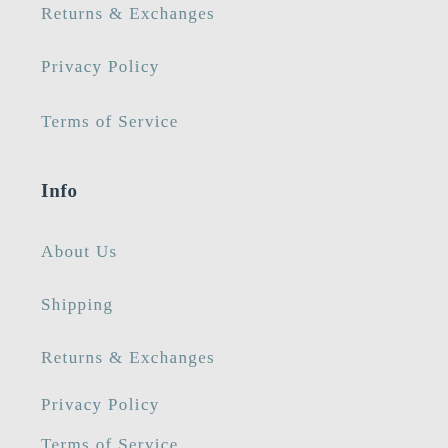Returns & Exchanges
Privacy Policy
Terms of Service
Info
About Us
Shipping
Returns & Exchanges
Privacy Policy
Terms of Service